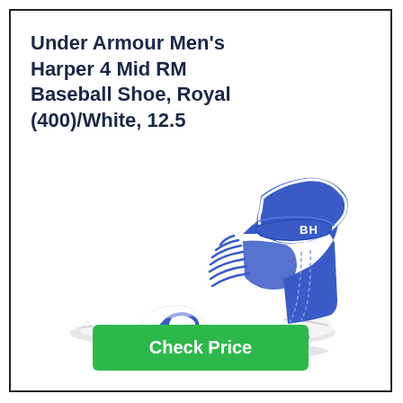Under Armour Men's Harper 4 Mid RM Baseball Shoe, Royal (400)/White, 12.5
[Figure (photo): Under Armour Harper 4 Mid RM baseball cleat in royal blue and white colorway with BH branding on the strap, mid-cut design with lace-up closure and molded rubber cleats on the outsole.]
Check Price